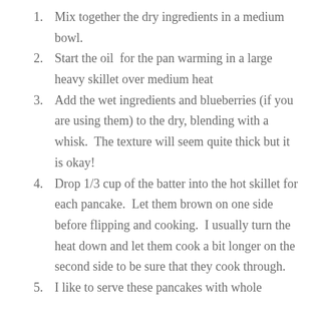Mix together the dry ingredients in a medium bowl.
Start the oil  for the pan warming in a large heavy skillet over medium heat
Add the wet ingredients and blueberries (if you are using them) to the dry, blending with a whisk.  The texture will seem quite thick but it is okay!
Drop 1/3 cup of the batter into the hot skillet for each pancake.  Let them brown on one side before flipping and cooking.  I usually turn the heat down and let them cook a bit longer on the second side to be sure that they cook through.
I like to serve these pancakes with whole